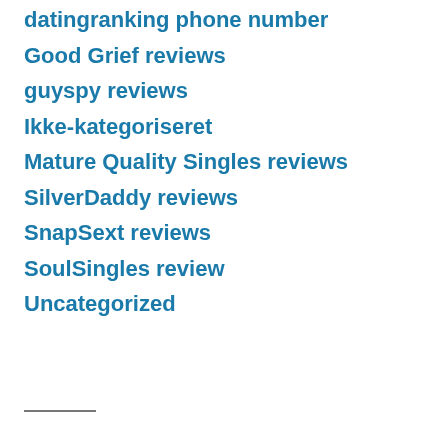datingranking phone number
Good Grief reviews
guyspy reviews
Ikke-kategoriseret
Mature Quality Singles reviews
SilverDaddy reviews
SnapSext reviews
SoulSingles review
Uncategorized